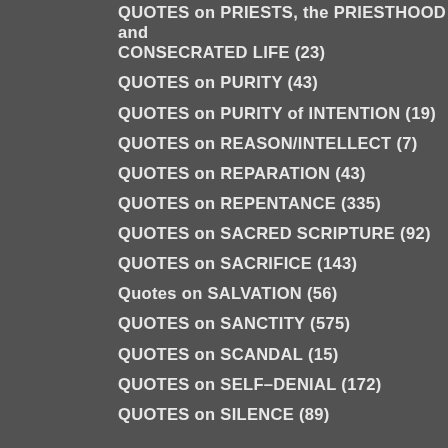QUOTES on PRIESTS, the PRIESTHOOD and CONSECRATED LIFE (23)
QUOTES on PURITY (43)
QUOTES on PURITY of INTENTION (19)
QUOTES on REASON/INTELLECT (7)
QUOTES on REPARATION (43)
QUOTES on REPENTANCE (335)
QUOTES on SACRED SCRIPTURE (92)
QUOTES on SACRIFICE (143)
Quotes on SALVATION (56)
QUOTES on SANCTITY (575)
QUOTES on SCANDAL (15)
QUOTES on SELF-DENIAL (172)
QUOTES on SILENCE (89)